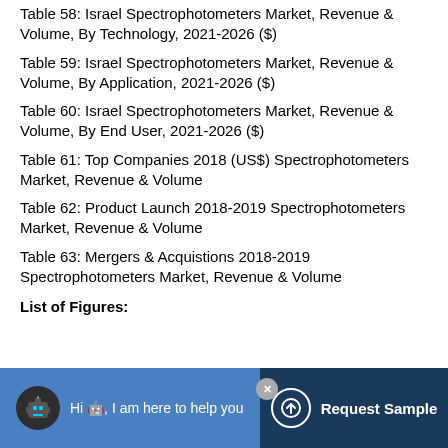Table 58: Israel Spectrophotometers Market, Revenue & Volume, By Technology, 2021-2026 ($)
Table 59: Israel Spectrophotometers Market, Revenue & Volume, By Application, 2021-2026 ($)
Table 60: Israel Spectrophotometers Market, Revenue & Volume, By End User, 2021-2026 ($)
Table 61: Top Companies 2018 (US$) Spectrophotometers Market, Revenue & Volume
Table 62: Product Launch 2018-2019 Spectrophotometers Market, Revenue & Volume
Table 63: Mergers & Acquistions 2018-2019 Spectrophotometers Market, Revenue & Volume
List of Figures: